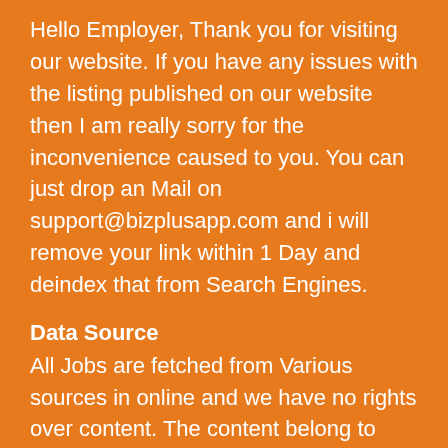Hello Employer, Thank you for visiting our website. If you have any issues with the listing published on our website then I am really sorry for the inconvenience caused to you. You can just drop an Mail on support@bizplusapp.com and i will remove your link within 1 Day and deindex that from Search Engines.
Data Source
All Jobs are fetched from Various sources in online and we have no rights over content. The content belong to their respective owners. If you find any link wrong or want to remove that then please just drop one email on support@bizplusapp.com we will remove and deindex that link from search engines.